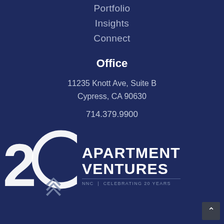Portfolio
Insights
Connect
Office
11235 Knott Ave, Suite B
Cypress, CA 90630
714.379.9900
[Figure (logo): Apartment Ventures 20th anniversary logo with '20' numeral, stacked chevron icon, 'APARTMENT VENTURES' text and 'NNC | CELEBRATING 20 YEARS' tagline]